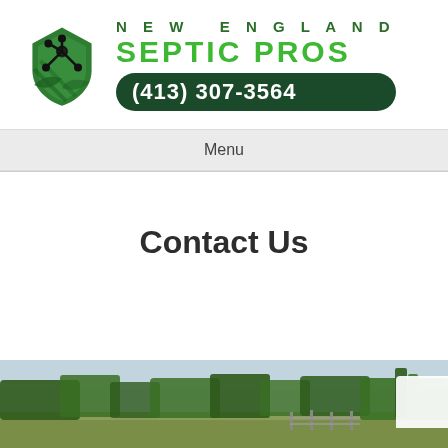[Figure (logo): New England Septic Pros logo with green shield icon, company name, and phone number (413) 307-3564]
Menu
Contact Us
[Figure (photo): Landscape photo of a rural field with trees in the background under a cloudy sky]